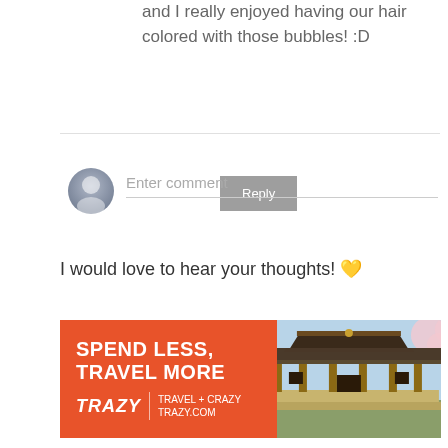and I really enjoyed having our hair colored with those bubbles! :D
Reply
Enter comment
I would love to hear your thoughts! 💛
[Figure (infographic): Trazy travel advertisement banner. Orange background with white bold text 'SPEND LESS, TRAVEL MORE', logo 'TRAZY' with tagline 'TRAVEL + CRAZY / TRAZY.COM', and a photo of a Korean temple on the right side.]